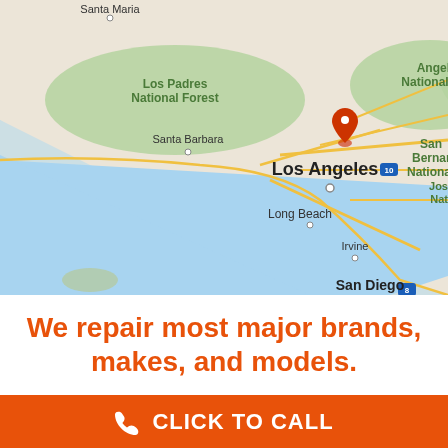[Figure (map): Google Maps view of Southern California coastline showing Santa Maria, Los Padres National Forest, Santa Barbara, Angeles National Forest, Los Angeles, Long Beach, San Bernardino National Forest, Irvine, and San Diego]
We repair most major brands, makes, and models.
CLICK TO CALL